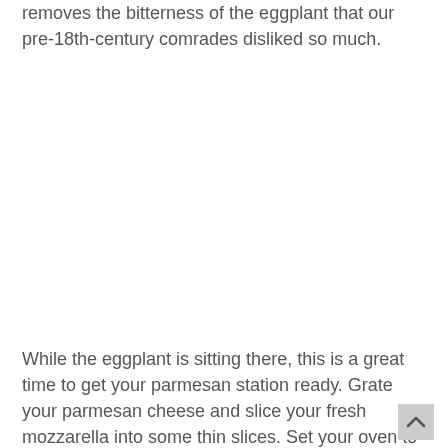removes the bitterness of the eggplant that our pre-18th-century comrades disliked so much.
While the eggplant is sitting there, this is a great time to get your parmesan station ready. Grate your parmesan cheese and slice your fresh mozzarella into some thin slices. Set your oven to 350 degrees